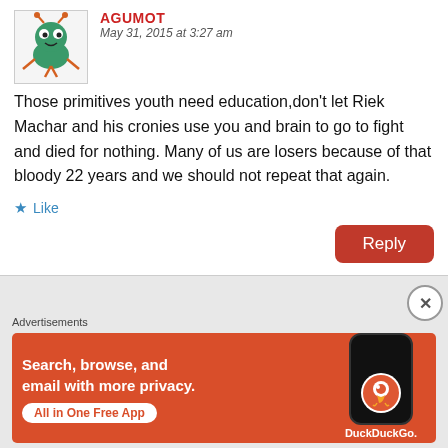[Figure (illustration): Avatar image of a cartoon creature (frog/crab hybrid, green and orange) on white background]
AGUMOT
May 31, 2015 at 3:27 am
Those primitives youth need education,don't let Riek Machar and his cronies use you and brain to go to fight and died for nothing. Many of us are losers because of that bloody 22 years and we should not repeat that again.
★ Like
Reply
Advertisements
[Figure (screenshot): DuckDuckGo advertisement banner: orange background with phone mockup. Text: Search, browse, and email with more privacy. All in One Free App. DuckDuckGo logo.]